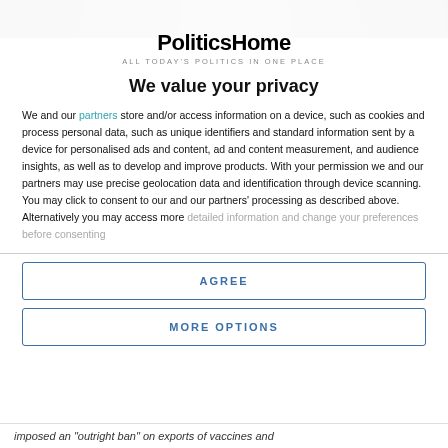[Figure (photo): Partial photo strip at top of page, showing blurred image of people]
PoliticsHome
ALL TODAY'S POLITICS IN ONE PLACE
We value your privacy
We and our partners store and/or access information on a device, such as cookies and process personal data, such as unique identifiers and standard information sent by a device for personalised ads and content, ad and content measurement, and audience insights, as well as to develop and improve products. With your permission we and our partners may use precise geolocation data and identification through device scanning. You may click to consent to our and our partners' processing as described above. Alternatively you may access more detailed information and change your preferences before consenting
AGREE
MORE OPTIONS
imposed an "outright ban" on exports of vaccines and